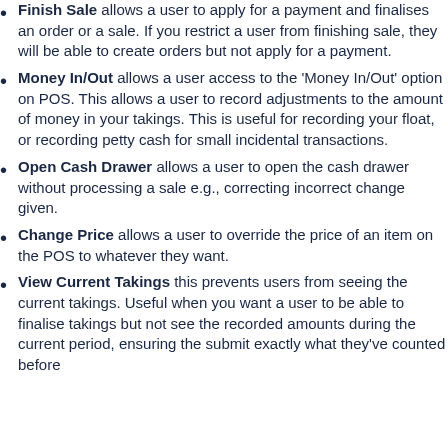Finish Sale allows a user to apply for a payment and finalises an order or a sale. If you restrict a user from finishing sale, they will be able to create orders but not apply for a payment.
Money In/Out allows a user access to the 'Money In/Out' option on POS. This allows a user to record adjustments to the amount of money in your takings. This is useful for recording your float, or recording petty cash for small incidental transactions.
Open Cash Drawer allows a user to open the cash drawer without processing a sale e.g., correcting incorrect change given.
Change Price allows a user to override the price of an item on the POS to whatever they want.
View Current Takings this prevents users from seeing the current takings. Useful when you want a user to be able to finalise takings but not see the recorded amounts during the current period, ensuring the submit exactly what they've counted before